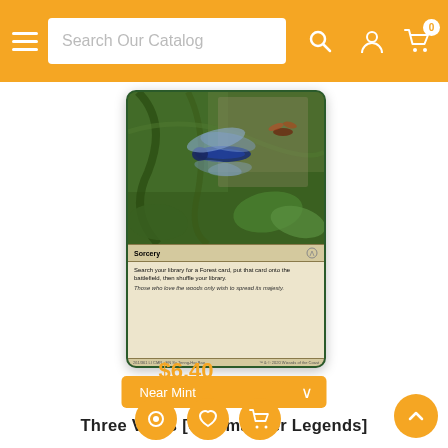Search Our Catalog
[Figure (photo): Magic: The Gathering card 'Three Visits' from Commander Legends. Shows a dragonfly in a forest scene. Card type: Sorcery. Text: Search your library for a Forest card, put that card onto the battlefield, then shuffle your library. Flavor text: Those who love the woods only wish to spread its majesty. Card number 261/361 LI, CMR EN.]
Near Mint
Three Visits [Commander Legends]
$6.40